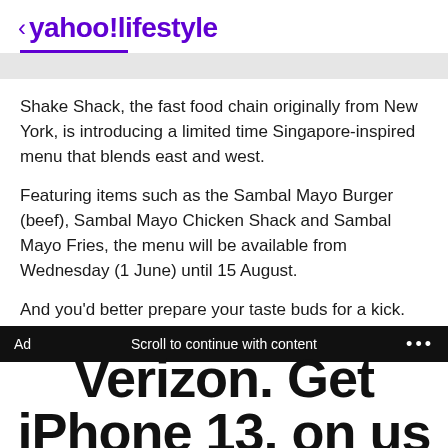< yahoo!lifestyle
Shake Shack, the fast food chain originally from New York, is introducing a limited time Singapore-inspired menu that blends east and west.
Featuring items such as the Sambal Mayo Burger (beef), Sambal Mayo Chicken Shack and Sambal Mayo Fries, the menu will be available from Wednesday (1 June) until 15 August.
And you'd better prepare your taste buds for a kick.
Ad   Scroll to continue with content   ...
Verizon. Get iPhone 13. on us